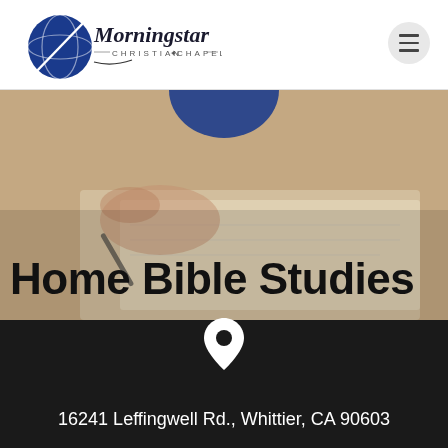[Figure (logo): Morningstar Christian Chapel logo — circular blue globe with stylized script 'Morningstar' and subtitle 'CHRISTIAN CHAPEL']
[Figure (photo): Hero background photo of hands writing/studying with an open Bible or notebook, with blue accent shape at top center and large bold title 'Home Bible Studies' overlaid]
Home Bible Studies
16241 Leffingwell Rd., Whittier, CA 90603